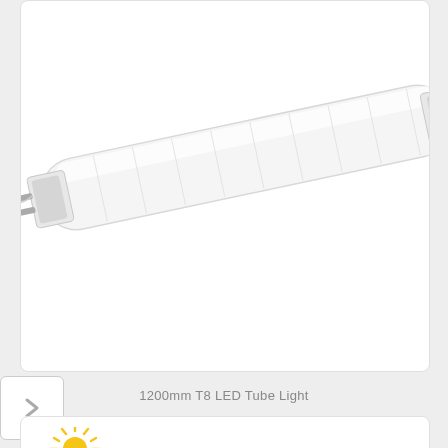[Figure (photo): LED T8 fluorescent tube light tilted diagonally, white frosted cover with metal end cap and bi-pin connector, shown against white background inside a rounded-corner card]
1200mm T8 LED Tube Light
[Figure (photo): Second product card showing Logos LED brand logo (sun with rays over water waves, yellow and blue) in upper left, and a partial view of a white LED tube light in the lower right corner]